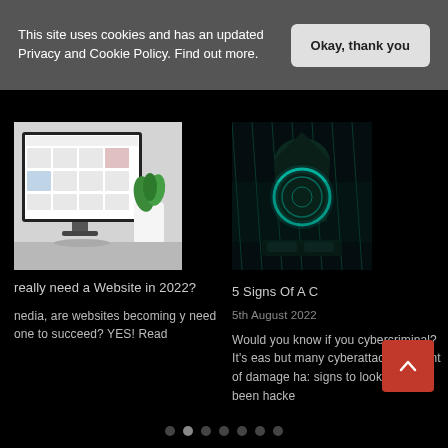This site uses cookies and has an updated Privacy and Cookie Policy. Find out more.
Okay, thank you
[Figure (screenshot): Computer monitor displaying a website/app interface with product thumbnails, next to a white vase with green plant on a light grey background]
really need a Website in 2022?
[Figure (photo): Dark cyberpunk-style image of a hooded figure with glowing blue/teal circular digital overlay, suggesting hacking or cybercrime]
5 Signs Of A C
5th August 2022
nedia, are websites becoming y need one to succeed? YES! Read
Would you know if you cybercriminal? It's eas but many cyberattacks amount of damage ha: signs to look out for if been hacke